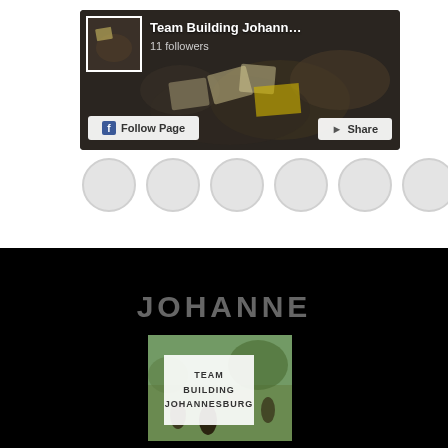[Figure (screenshot): Facebook page widget showing 'Team Building Johann...' page with 11 followers, Follow Page and Share buttons, on a dark banner background with crowd photo]
[Figure (photo): Row of 6 circular avatar/profile picture placeholders in light gray]
JOHANNE
[Figure (photo): Team Building Johannesburg card overlaid on outdoor photo showing people in a field with trees]